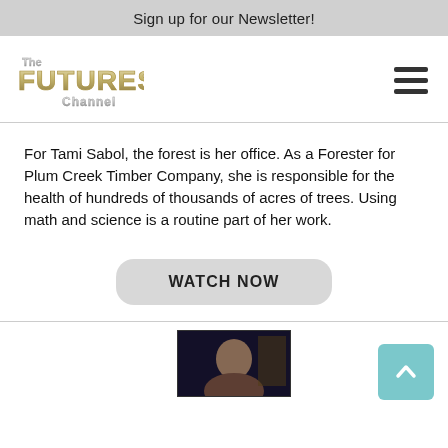Sign up for our Newsletter!
[Figure (logo): The Futures Channel logo - stylized text with metallic effect]
For Tami Sabol, the forest is her office. As a Forester for Plum Creek Timber Company, she is responsible for the health of hundreds of thousands of acres of trees. Using math and science is a routine part of her work.
WATCH NOW
[Figure (photo): A person photographed indoors in low light, cropped at page bottom]